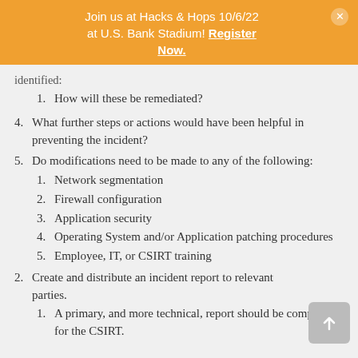Join us at Hacks & Hops 10/6/22 at U.S. Bank Stadium! Register Now.
identified:
1. How will these be remediated?
4. What further steps or actions would have been helpful in preventing the incident?
5. Do modifications need to be made to any of the following:
1. Network segmentation
2. Firewall configuration
3. Application security
4. Operating System and/or Application patching procedures
5. Employee, IT, or CSIRT training
2. Create and distribute an incident report to relevant parties.
1. A primary, and more technical, report should be completed for the CSIRT.